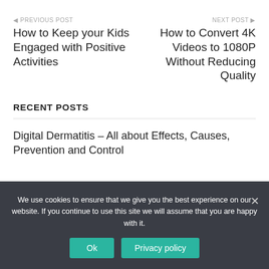◄ PREVIOUS POST
How to Keep your Kids Engaged with Positive Activities
NEXT POST ►
How to Convert 4K Videos to 1080P Without Reducing Quality
RECENT POSTS
Digital Dermatitis – All about Effects, Causes, Prevention and Control
We use cookies to ensure that we give you the best experience on our website. If you continue to use this site we will assume that you are happy with it.